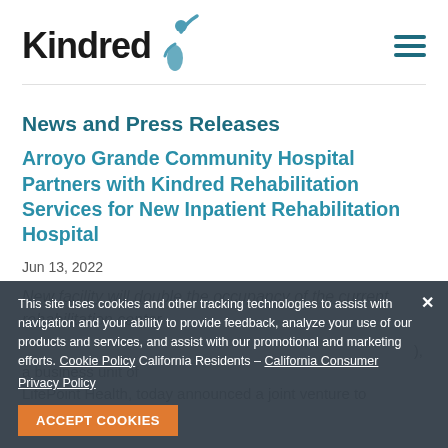Kindred [logo] [hamburger menu]
News and Press Releases
Arroyo Grande Community Hospital Partners with Kindred Rehabilitation Services for New Inpatient Rehabilitation Hospital
Jun 13, 2022
New facility will double the occupancy of the current rehabilitation center
...a business unit of LifePoint Health, today announced a joint venture to
This site uses cookies and other tracking technologies to assist with navigation and your ability to provide feedback, analyze your use of our products and services, and assist with our promotional and marketing efforts. Cookie Policy California Residents – California Consumer Privacy Policy [ACCEPT COOKIES button]